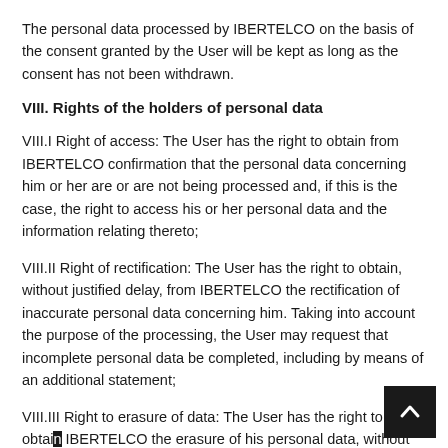The personal data processed by IBERTELCO on the basis of the consent granted by the User will be kept as long as the consent has not been withdrawn.
VIII. Rights of the holders of personal data
VIII.I Right of access: The User has the right to obtain from IBERTELCO confirmation that the personal data concerning him or her are or are not being processed and, if this is the case, the right to access his or her personal data and the information relating thereto;
VIII.II Right of rectification: The User has the right to obtain, without justified delay, from IBERTELCO the rectification of inaccurate personal data concerning him. Taking into account the purpose of the processing, the User may request that incomplete personal data be completed, including by means of an additional statement;
VIII.III Right to erasure of data: The User has the right to obtain from IBERTELCO the erasure of his personal data, without undue delay